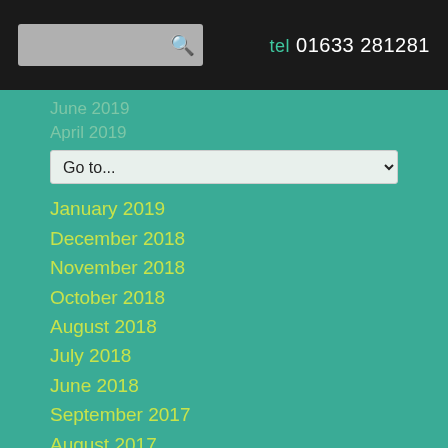tel 01633 281281
June 2019
Go to...
January 2019
December 2018
November 2018
October 2018
August 2018
July 2018
June 2018
September 2017
August 2017
July 2017
June 2017
May 2017
April 2017
November 2016
October 2016